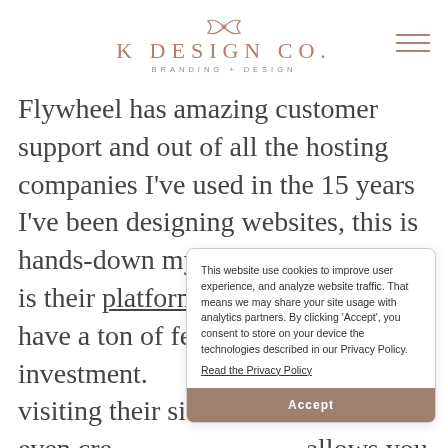K DESIGN CO. BRANDING + DESIGN
Flywheel has amazing customer support and out of all the hosting companies I've used in the 15 years I've been designing websites, this is hands-down my favorite! Not only is their platform easy to use, they have a ton of features that make the investment. You can even create visiting their site allows you to try
This website use cookies to improve user experience, and analyze website traffic. That means we may share your site usage with analytics partners. By clicking 'Accept', you consent to store on your device the technologies described in our Privacy Policy.
Read the Privacy Policy
Accept